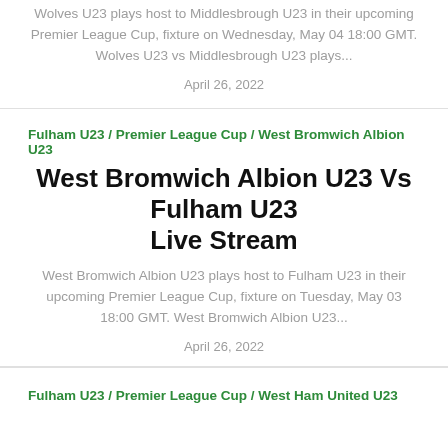Wolves U23 plays host to Middlesbrough U23 in their upcoming Premier League Cup, fixture on Wednesday, May 04 18:00 GMT. Wolves U23 vs Middlesbrough U23 plays...
April 26, 2022
Fulham U23 / Premier League Cup / West Bromwich Albion U23
West Bromwich Albion U23 Vs Fulham U23 Live Stream
West Bromwich Albion U23 plays host to Fulham U23 in their upcoming Premier League Cup, fixture on Tuesday, May 03 18:00 GMT. West Bromwich Albion U23...
April 26, 2022
Fulham U23 / Premier League Cup / West Ham United U23